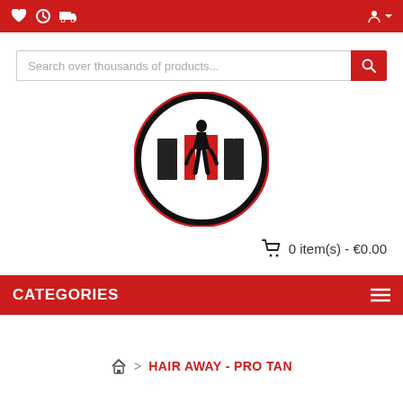Top navigation bar with wishlist, history, delivery icons and user account icon
Search over thousands of products...
[Figure (logo): No Pain No Gain Nutrition circular logo with black and red distressed lettering and athlete silhouette]
0 item(s) - €0.00
CATEGORIES
HAIR AWAY - PRO TAN